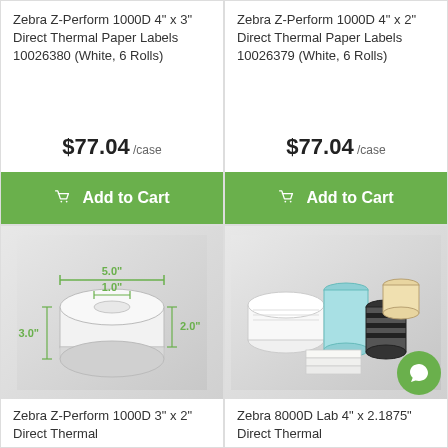Zebra Z-Perform 1000D 4" x 3" Direct Thermal Paper Labels 10026380 (White, 6 Rolls)
$77.04 /case
Add to Cart
Zebra Z-Perform 1000D 4" x 2" Direct Thermal Paper Labels 10026379 (White, 6 Rolls)
$77.04 /case
Add to Cart
[Figure (illustration): White label roll with dimension annotations: 5.0" width, 1.0" core, 2.0" height, 3.0" label length in green text]
Zebra Z-Perform 1000D 3" x 2" Direct Thermal
[Figure (photo): Multiple Zebra label rolls and supplies including colored rolls and a ribbon on a grey background]
Zebra 8000D Lab 4" x 2.1875" Direct Thermal